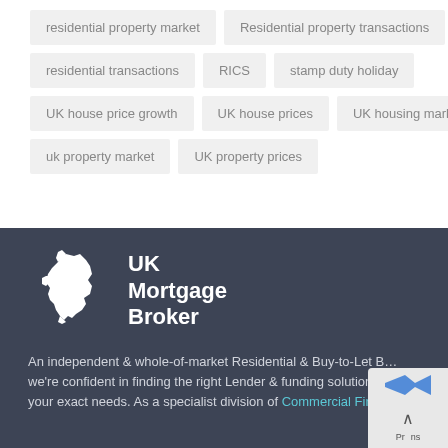residential property market
Residential property transactions
residential transactions
RICS
stamp duty holiday
UK house price growth
UK house prices
UK housing market
uk property market
UK property prices
[Figure (logo): UK Mortgage Broker logo with white UK map icon and bold white text]
An independent & whole-of-market Residential & Buy-to-Let B… we're confident in finding the right Lender & funding solution… your exact needs. As a specialist division of Commercial Finance…